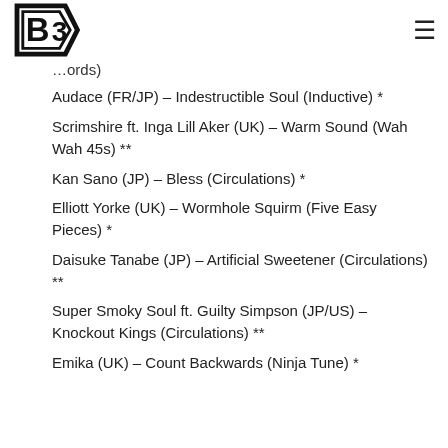B3 Records (logo and navigation)
(Records)
Audace (FR/JP) – Indestructible Soul (Inductive) *
Scrimshire ft. Inga Lill Aker (UK) – Warm Sound (Wah Wah 45s) **
Kan Sano (JP) – Bless (Circulations) *
Elliott Yorke (UK) – Wormhole Squirm (Five Easy Pieces) *
Daisuke Tanabe (JP) – Artificial Sweetener (Circulations) **
Super Smoky Soul ft. Guilty Simpson (JP/US) – Knockout Kings (Circulations) **
Emika (UK) – Count Backwards (Ninja Tune) *